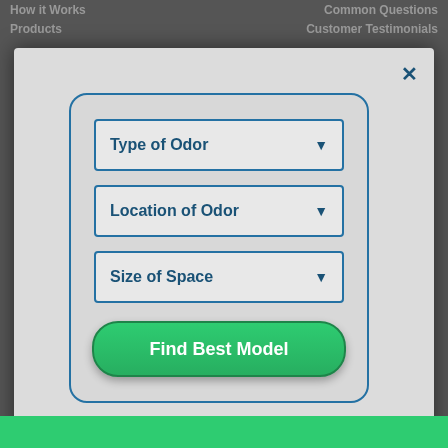[Figure (screenshot): A modal dialog popup on a website with three dropdown menus labeled 'Type of Odor', 'Location of Odor', and 'Size of Space', plus a green 'Find Best Model' button. A close X button is in the top right of the modal. The background shows a dimmed webpage with navigation links 'How it Works', 'Common Questions', 'Products', 'Customer Testimonials'.]